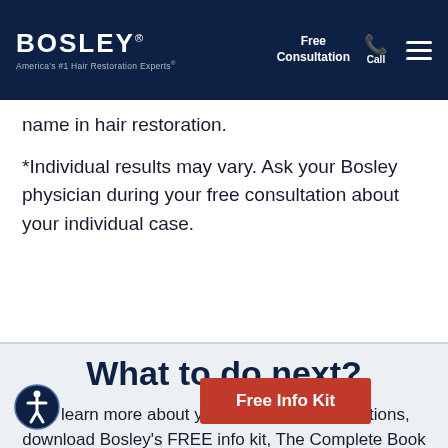BOSLEY — America's #1 Hair Restoration Experts® | Free Consultation | Call
name in hair restoration.
*Individual results may vary. Ask your Bosley physician during your free consultation about your individual case.
What to do next?
To learn more about your hair restoration options, download Bosley's FREE info kit, The Complete Book on Hair Restoration, and see how great your hair can look. If you're ready to do something
Free Info Kit